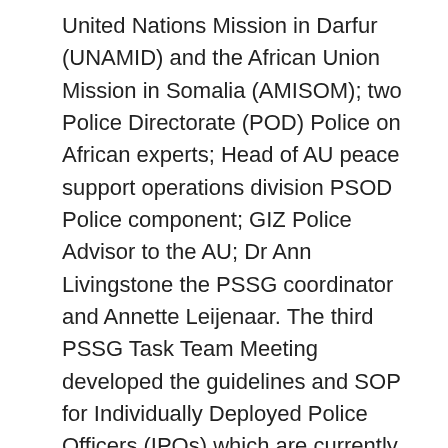United Nations Mission in Darfur (UNAMID) and the African Union Mission in Somalia (AMISOM); two Police Directorate (POD) Police on African experts; Head of AU peace support operations division PSOD Police component; GIZ Police Advisor to the AU; Dr Ann Livingstone the PSSG coordinator and Annette Leijenaar. The third PSSG Task Team Meeting developed the guidelines and SOP for Individually Deployed Police Officers (IPOs) which are currently going through final editing. Earlier task team meetings developed the framework and policy for the AUPOL currently under review at the AU Office for Legal Affairs.
[Figure (other): Image placeholder labelled PSSG2]